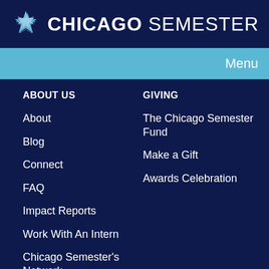CHICAGO SEMESTER
Menu
ABOUT US
About
Blog
Connect
FAQ
Impact Reports
Work With An Intern
Chicago Semester's Network
GIVING
The Chicago Semester Fund
Make a Gift
Awards Celebration